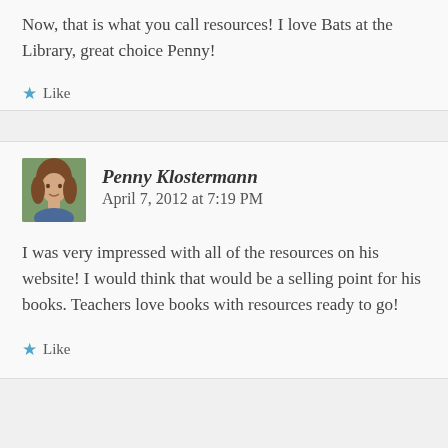Now, that is what you call resources! I love Bats at the Library, great choice Penny!
Like
Penny Klostermann   April 7, 2012 at 7:19 PM
I was very impressed with all of the resources on his website! I would think that would be a selling point for his books. Teachers love books with resources ready to go!
Like